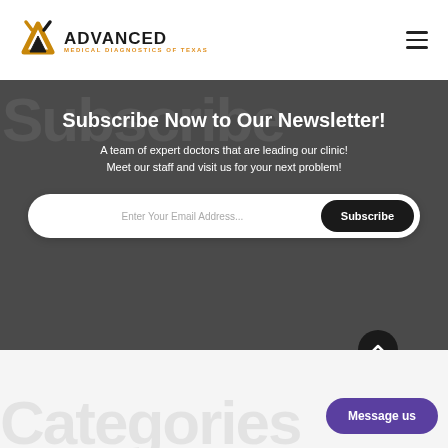[Figure (logo): Advanced Medical Diagnostics of Texas logo with stylized AM mountain/heartbeat symbol in black and gold]
Subscribe Now to Our Newsletter!
A team of expert doctors that are leading our clinic! Meet our staff and visit us for your next problem!
Enter Your Email Address... Subscribe
Categories
Message us